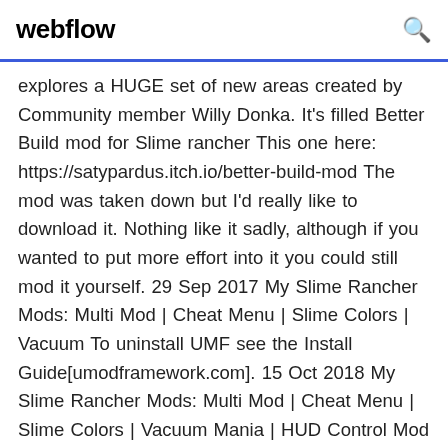webflow
explores a HUGE set of new areas created by Community member Willy Donka. It's filled Better Build mod for Slime rancher This one here: https://satypardus.itch.io/better-build-mod The mod was taken down but I'd really like to download it. Nothing like it sadly, although if you wanted to put more effort into it you could still mod it yourself. 29 Sep 2017 My Slime Rancher Mods: Multi Mod | Cheat Menu | Slime Colors | Vacuum To uninstall UMF see the Install Guide[umodframework.com]. 15 Oct 2018 My Slime Rancher Mods: Multi Mod | Cheat Menu | Slime Colors | Vacuum Mania | HUD Control Mod Description: (Previously named Oct 15, 2018 @ 5:29pm To uninstall UMF see the Install